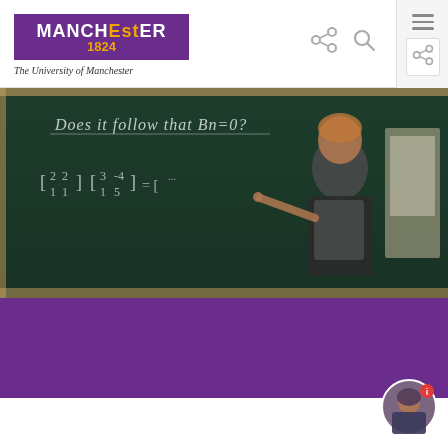[Figure (logo): University of Manchester logo with purple rectangle, white MANCHESTER text, gold 1824, and italic subtitle]
[Figure (photo): A professor standing at a chalkboard with mathematics equations including matrices and the question 'Does it follow that Bn=0?']
BSc Mathematics
Make it count with a mathematics degree of real value.
BSc Mathematics